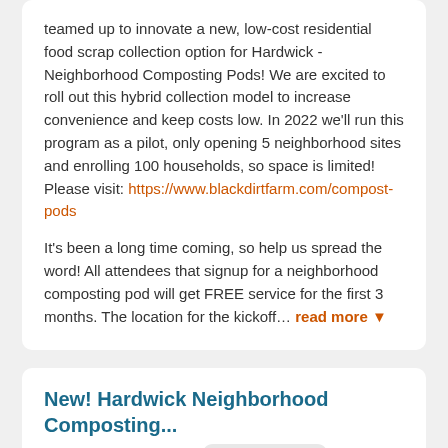teamed up to innovate a new, low-cost residential food scrap collection option for Hardwick - Neighborhood Composting Pods! We are excited to roll out this hybrid collection model to increase convenience and keep costs low. In 2022 we'll run this program as a pilot, only opening 5 neighborhood sites and enrolling 100 households, so space is limited! Please visit: https://www.blackdirtfarm.com/compost-pods
It's been a long time coming, so help us spread the word! All attendees that signup for a neighborhood composting pod will get FREE service for the first 3 months. The location for the kickoff... read more
New! Hardwick Neighborhood Composting...
Greensboro Bend, VT   Announcement